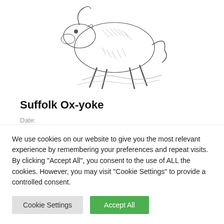[Figure (illustration): Black and white engraving illustration of an ox or bull in motion, running or leaping, with detailed cross-hatching linework]
Suffolk Ox-yoke
Date:
Author: Michael Goodman
Category: Act III, As You Like It, Charles Knight, Comedy
We use cookies on our website to give you the most relevant experience by remembering your preferences and repeat visits. By clicking "Accept All", you consent to the use of ALL the cookies. However, you may visit "Cookie Settings" to provide a controlled consent.